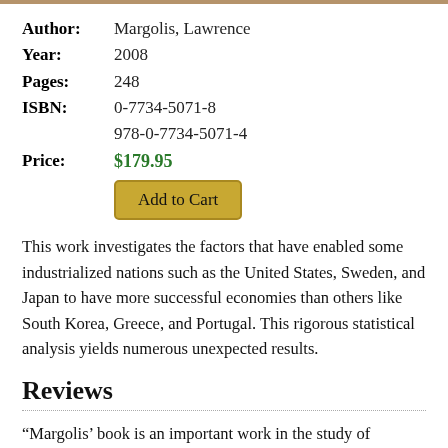| Author: | Margolis, Lawrence |
| Year: | 2008 |
| Pages: | 248 |
| ISBN: | 0-7734-5071-8
978-0-7734-5071-4 |
| Price: | $179.95 |
This work investigates the factors that have enabled some industrialized nations such as the United States, Sweden, and Japan to have more successful economies than others like South Korea, Greece, and Portugal. This rigorous statistical analysis yields numerous unexpected results.
Reviews
“Margolis’ book is an important work in the study of economic development. Its